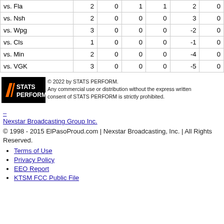| vs. Fla | 2 | 0 | 1 | 1 | 2 | 0 |
| vs. Nsh | 2 | 0 | 0 | 0 | 3 | 0 |
| vs. Wpg | 3 | 0 | 0 | 0 | -2 | 0 |
| vs. Cls | 1 | 0 | 0 | 0 | -1 | 0 |
| vs. Min | 2 | 0 | 0 | 0 | -4 | 0 |
| vs. VGK | 3 | 0 | 0 | 0 | -5 | 0 |
[Figure (logo): STATS PERFORM logo - black background with orange/white slash marks and white text]
© 2022 by STATS PERFORM. Any commercial use or distribution without the express written consent of STATS PERFORM is strictly prohibited.
–
Nexstar Broadcasting Group Inc.
© 1998 - 2015 ElPasoProud.com | Nexstar Broadcasting, Inc. | All Rights Reserved.
Terms of Use
Privacy Policy
EEO Report
KTSM FCC Public File